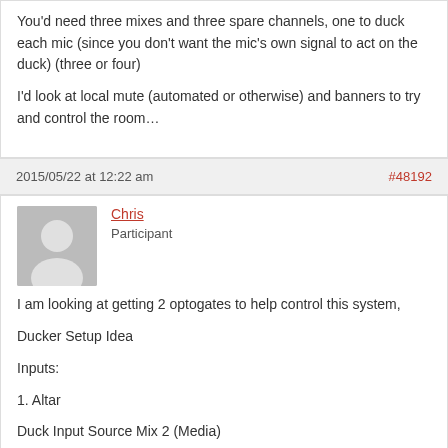You'd need three mixes and three spare channels, one to duck each mic (since you don't want the mic's own signal to act on the duck) (three or four)
I'd look at local mute (automated or otherwise) and banners to try and control the room…
2015/05/22 at 12:22 am
#48192
Chris
Participant
I am looking at getting 2 optogates to help control this system,
Ducker Setup Idea
Inputs:
1. Altar
Duck Input Source Mix 2 (Media)
2. Reader